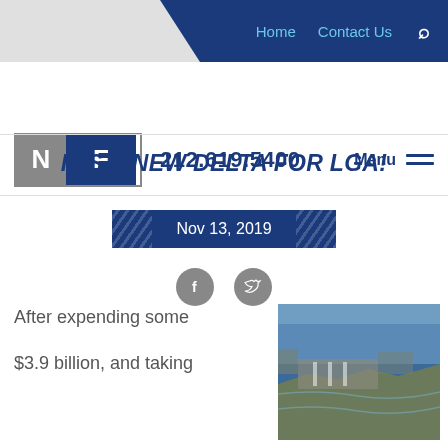Home  Contact Us  🔍
[Figure (logo): NF law firm logo with phone number 212.619.5400 and Menu button]
IT'S A NEW DELTA FOR LGA!
Nov 13, 2019
[Figure (illustration): Facebook and Twitter social share icons]
After expending some
$3.9 billion, and taking
[Figure (photo): Aerial photograph of LaGuardia Airport area]